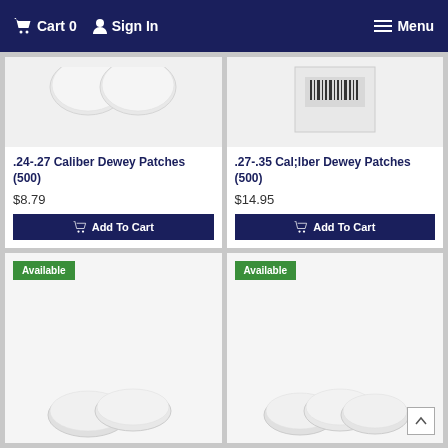Cart 0  Sign In  Menu
[Figure (photo): Photo of .24-.27 Caliber Dewey Patches product]
.24-.27 Caliber Dewey Patches (500)
$8.79
Add To Cart
[Figure (photo): Photo of .27-.35 Cal;lber Dewey Patches product in packaging with barcode]
.27-.35 Cal;lber Dewey Patches (500)
$14.95
Add To Cart
[Figure (photo): Photo of white cotton patches product with Available badge]
[Figure (photo): Photo of white cotton patches product with Available badge]